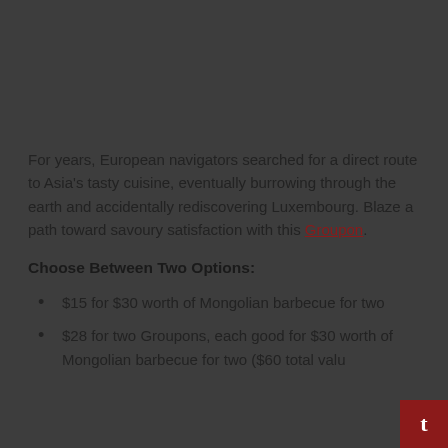For years, European navigators searched for a direct route to Asia's tasty cuisine, eventually burrowing through the earth and accidentally rediscovering Luxembourg. Blaze a path toward savoury satisfaction with this Groupon.
Choose Between Two Options:
$15 for $30 worth of Mongolian barbecue for two
$28 for two Groupons, each good for $30 worth of Mongolian barbecue for two ($60 total value